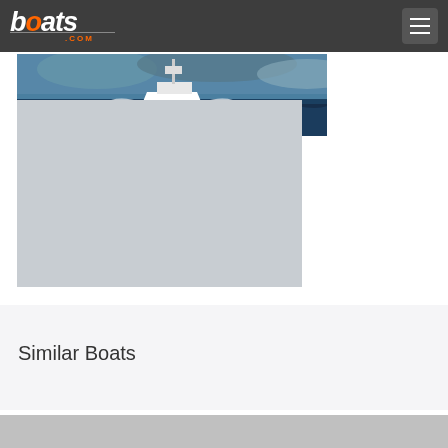boats.com
[Figure (photo): A sport fishing boat speeding across dark choppy water with white spray, viewed head-on against a stormy blue sky]
[Figure (other): Gray advertisement placeholder block]
Similar Boats